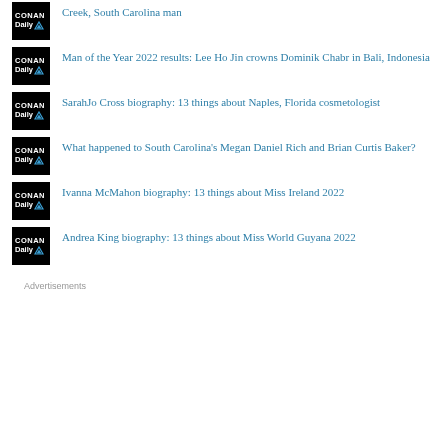Creek, South Carolina man
Man of the Year 2022 results: Lee Ho Jin crowns Dominik Chabr in Bali, Indonesia
SarahJo Cross biography: 13 things about Naples, Florida cosmetologist
What happened to South Carolina's Megan Daniel Rich and Brian Curtis Baker?
Ivanna McMahon biography: 13 things about Miss Ireland 2022
Andrea King biography: 13 things about Miss World Guyana 2022
Advertisements